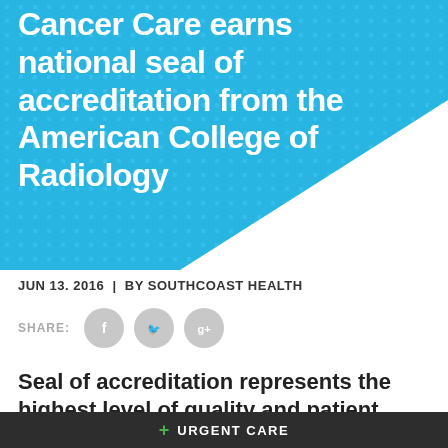Cancer Care earns national seal of accreditation from the American College of Radiology
JUN 13. 2016 | BY SOUTHCOAST HEALTH
[Figure (infographic): Social share icons: Facebook, Twitter, Google+]
Seal of accreditation represents the highest level of quality and patient safety
NEW BEDFORD, Mass. — The Southcoast Centers for
+ URGENT CARE